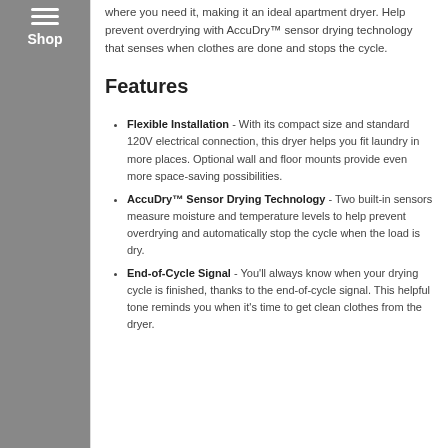where you need it, making it an ideal apartment dryer. Help prevent overdrying with AccuDry™ sensor drying technology that senses when clothes are done and stops the cycle.
Features
Flexible Installation - With its compact size and standard 120V electrical connection, this dryer helps you fit laundry in more places. Optional wall and floor mounts provide even more space-saving possibilities.
AccuDry™ Sensor Drying Technology - Two built-in sensors measure moisture and temperature levels to help prevent overdrying and automatically stop the cycle when the load is dry.
End-of-Cycle Signal - You'll always know when your drying cycle is finished, thanks to the end-of-cycle signal. This helpful tone reminds you when it's time to get clean clothes from the dryer.